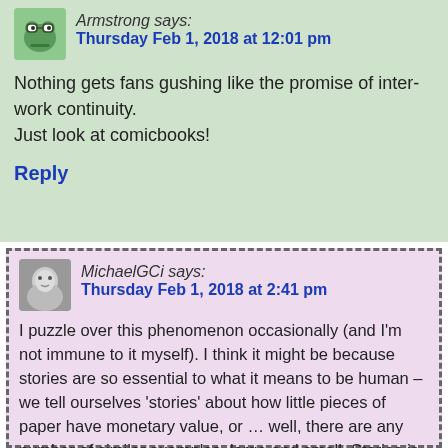Armstrong says:
Thursday Feb 1, 2018 at 12:01 pm
Nothing gets fans gushing like the promise of inter-work continuity.
Just look at comicbooks!
Reply
MichaelGCi says:
Thursday Feb 1, 2018 at 2:41 pm
I puzzle over this phenomenon occasionally (and I'm not immune to it myself). I think it might be because stories are so essential to what it means to be human – we tell ourselves 'stories' about how little pieces of paper have monetary value, or … well, there are any number of similar examples, large and small. Stories is kinda the bedrock of being a person.